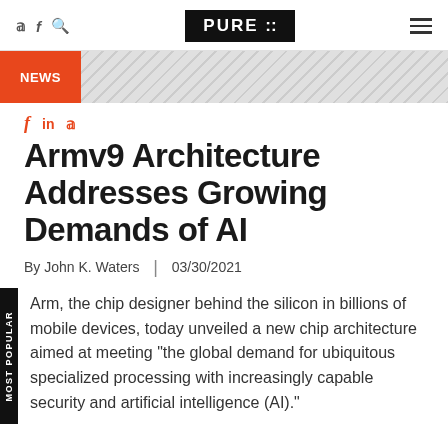PURE AI
NEWS
Armv9 Architecture Addresses Growing Demands of AI
By John K. Waters | 03/30/2021
Arm, the chip designer behind the silicon in billions of mobile devices, today unveiled a new chip architecture aimed at meeting "the global demand for ubiquitous specialized processing with increasingly capable security and artificial intelligence (AI)."